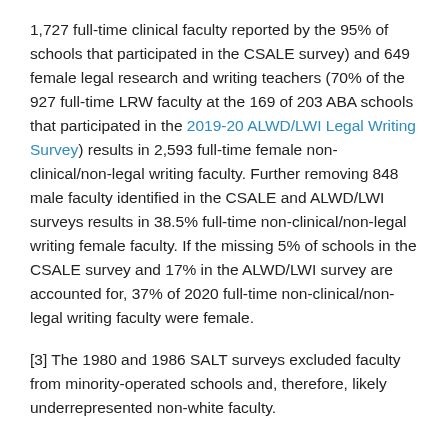1,727 full-time clinical faculty reported by the 95% of schools that participated in the CSALE survey) and 649 female legal research and writing teachers (70% of the 927 full-time LRW faculty at the 169 of 203 ABA schools that participated in the 2019-20 ALWD/LWI Legal Writing Survey) results in 2,593 full-time female non-clinical/non-legal writing faculty. Further removing 848 male faculty identified in the CSALE and ALWD/LWI surveys results in 38.5% full-time non-clinical/non-legal writing female faculty. If the missing 5% of schools in the CSALE survey and 17% in the ALWD/LWI survey are accounted for, 37% of 2020 full-time non-clinical/non-legal writing faculty were female.
[3] The 1980 and 1986 SALT surveys excluded faculty from minority-operated schools and, therefore, likely underrepresented non-white faculty.